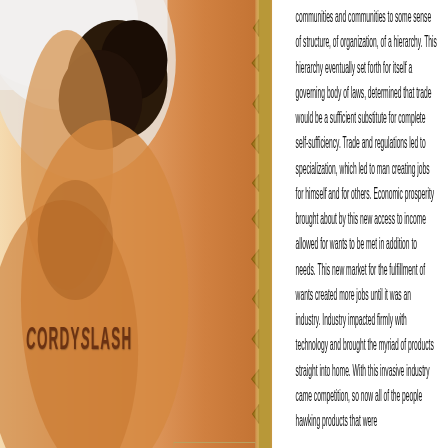[Figure (photo): Woman's bare back and shoulder with white hat, warm orange/tan skin tones, thorny vine decoration on right side. Fanfiction website screenshot background image.]
CordySlash
| home |
| author |
| pairing |
| title |
| list |
| updates |
communities and communities to some sense of structure, of organization, of a hierarchy. This hierarchy eventually set forth for itself a governing body of laws, determined that trade would be a sufficient substitute for complete self-sufficiency. Trade and regulations led to specialization, which led to man creating jobs for himself and for others. Economic prosperity brought about by this new access to income allowed for wants to be met in addition to needs. This new market for the fulfillment of wants created more jobs until it was an industry. Industry impacted firmly with technology and brought the myriad of products straight into home. With this invasive industry came competition, so now all of the people hawking products that were